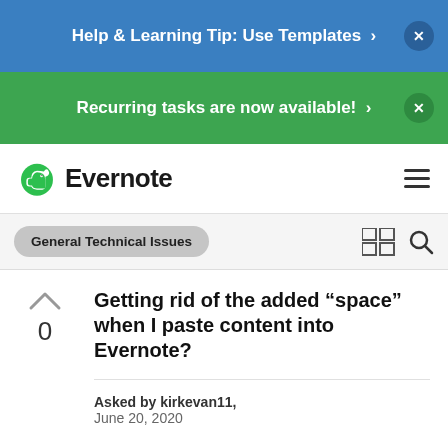Help & Learning Tip: Use Templates >
Recurring tasks are now available! >
[Figure (logo): Evernote logo with elephant icon and wordmark]
General Technical Issues
Getting rid of the added "space" when I paste content into Evernote?
Asked by kirkevan11, June 20, 2020
Idea